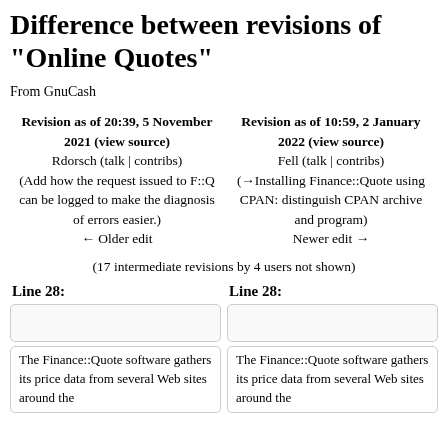Difference between revisions of "Online Quotes"
From GnuCash
| Revision as of 20:39, 5 November 2021 (view source) | Revision as of 10:59, 2 January 2022 (view source) |
| --- | --- |
| Rdorsch (talk | contribs) | Fell (talk | contribs) |
| (Add how the request issued to F::Q can be logged to make the diagnosis of errors easier.) | (→Installing Finance::Quote using CPAN: distinguish CPAN archive and program) |
| ← Older edit | Newer edit → |
(17 intermediate revisions by 4 users not shown)
Line 28:
Line 28:
The Finance::Quote software gathers its price data from several Web sites around the
The Finance::Quote software gathers its price data from several Web sites around the